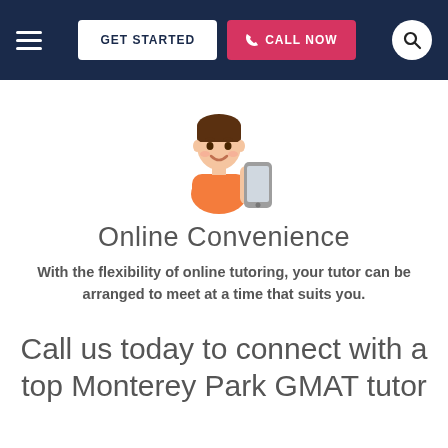GET STARTED | CALL NOW
[Figure (illustration): Cartoon illustration of a young man holding a smartphone]
Online Convenience
With the flexibility of online tutoring, your tutor can be arranged to meet at a time that suits you.
Call us today to connect with a top Monterey Park GMAT tutor